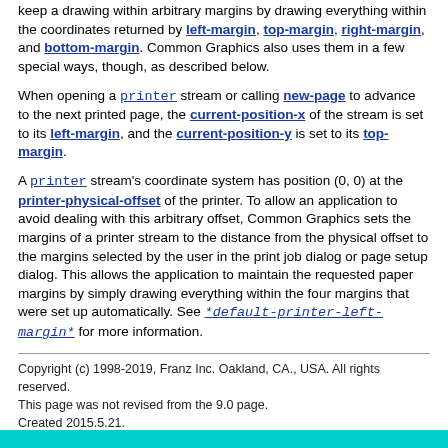keep a drawing within arbitrary margins by drawing everything within the coordinates returned by left-margin, top-margin, right-margin, and bottom-margin. Common Graphics also uses them in a few special ways, though, as described below.
When opening a printer stream or calling new-page to advance to the next printed page, the current-position-x of the stream is set to its left-margin, and the current-position-y is set to its top-margin.
A printer stream's coordinate system has position (0, 0) at the printer-physical-offset of the printer. To allow an application to avoid dealing with this arbitrary offset, Common Graphics sets the margins of a printer stream to the distance from the physical offset to the margins selected by the user in the print job dialog or page setup dialog. This allows the application to maintain the requested paper margins by simply drawing everything within the four margins that were set up automatically. See *default-printer-left-margin* for more information.
Copyright (c) 1998-2019, Franz Inc. Oakland, CA., USA. All rights reserved.
This page was not revised from the 9.0 page.
Created 2015.5.21.